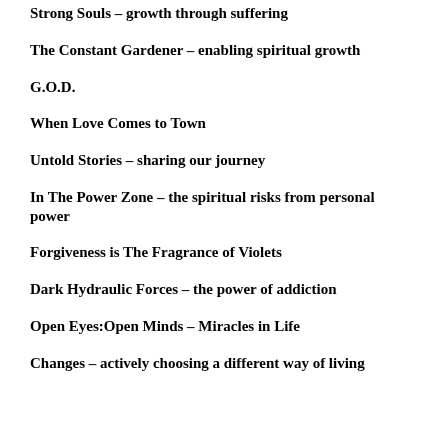Strong Souls – growth through suffering
The Constant Gardener – enabling spiritual growth
G.O.D.
When Love Comes to Town
Untold Stories – sharing our journey
In The Power Zone – the spiritual risks from personal power
Forgiveness is The Fragrance of Violets
Dark Hydraulic Forces – the power of addiction
Open Eyes:Open Minds – Miracles in Life
Changes – actively choosing a different way of living